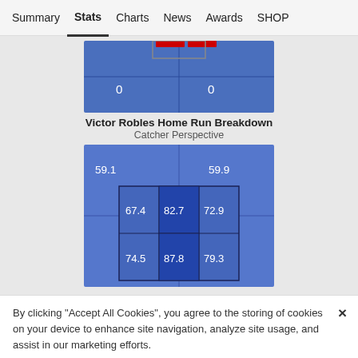Summary  Stats  Charts  News  Awards  SHOP
[Figure (other): Top portion of a baseball strike zone heat map showing partial grid with values 0 and 0, with red highlighted cells at top center, blue background cells]
Victor Robles Home Run Breakdown
Catcher Perspective
[Figure (other): Lower portion of strike zone heat map grid showing zone velocity/exit velocity values: 59.1 (top-left), 59.9 (top-right), 67.4, 82.7, 72.9 (middle row), 74.5, 87.8, 79.3 (bottom row), all on blue background]
By clicking "Accept All Cookies", you agree to the storing of cookies on your device to enhance site navigation, analyze site usage, and assist in our marketing efforts.
Cookies Settings  Accept All Cookies